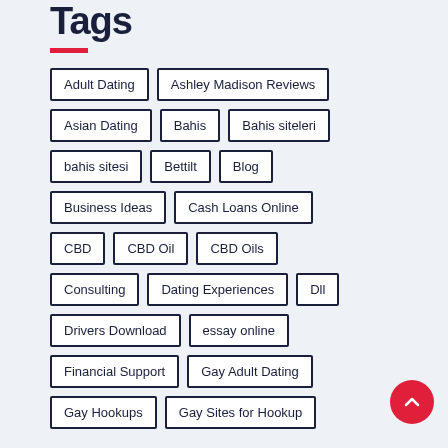Tags
Adult Dating
Ashley Madison Reviews
Asian Dating
Bahis
Bahis siteleri
bahis sitesi
Bettilt
Blog
Business Ideas
Cash Loans Online
CBD
CBD Oil
CBD Oils
Consulting
Dating Experiences
Dll
Drivers Download
essay online
Financial Support
Gay Adult Dating
Gay Hookups
Gay Sites for Hookup